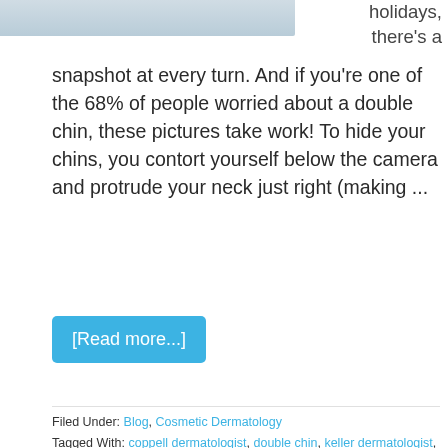[Figure (photo): Partial photo of a person's face/neck area, cropped at top]
holidays, there's a snapshot at every turn. And if you're one of the 68% of people worried about a double chin, these pictures take work! To hide your chins, you contort yourself below the camera and protrude your neck just right (making ...
[Read more...]
Filed Under: Blog, Cosmetic Dermatology
Tagged With: coppell dermatologist, double chin, keller dermatologist, kybella
ULTHERAPY
February 16, 2015 By Dr. Plott